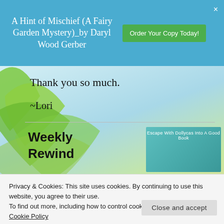A Hint of Mischief (A Fairy Garden Mystery)_by Daryl Wood Gerber | Order Your Copy Today!
Thank you so much.
~Lori
Weekly Rewind
[Figure (screenshot): Teal blog card reading 'Escape With Dollycas Into A Good Book']
Privacy & Cookies: This site uses cookies. By continuing to use this website, you agree to their use.
To find out more, including how to control cookies, see here:
Cookie Policy
Close and accept